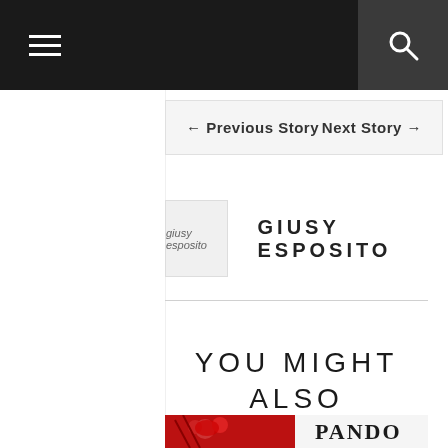Navigation bar with hamburger menu and search icon
← Previous Story    Next Story →
[Figure (photo): Author avatar image placeholder labeled 'giusy esposito']
GIUSY ESPOSITO
YOU MIGHT ALSO LIKE
[Figure (photo): Bottom preview image showing red roses and a Pandora shopping bag]